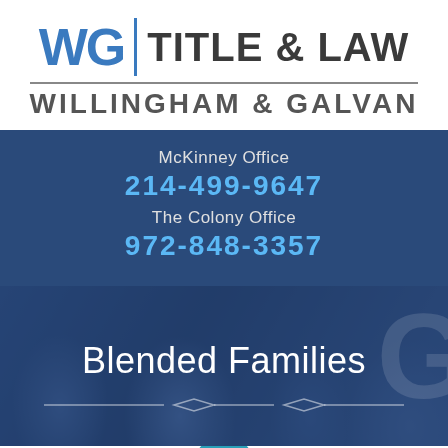[Figure (logo): WG Title & Law / Willingham & Galvan law firm logo with blue WG monogram and divider]
McKinney Office
214-499-9647
The Colony Office
972-848-3357
[Figure (photo): Blended Families hero banner with blue-overlaid family photo]
BLENDED FAM... IN T...
[Figure (infographic): Teal hamburger menu button and Text Us Now chat button]